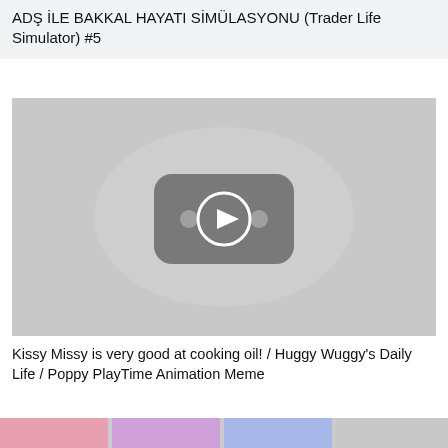ADŞ İLE BAKKAL HAYATI SİMÜLASYONU (Trader Life Simulator) #5
[Figure (screenshot): Video thumbnail placeholder showing a gray background with a YouTube-style play button icon (rounded rectangle with play triangle) in the center]
Kissy Missy is very good at cooking oil! / Huggy Wuggy's Daily Life / Poppy PlayTime Animation Meme
[Figure (screenshot): Partial thumbnail strip at bottom showing colorful video thumbnails]